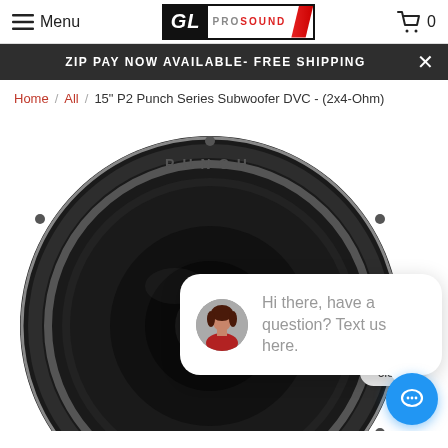Menu | GL PROSOUND | Cart 0
ZIP PAY NOW AVAILABLE- FREE SHIPPING
Home / All / 15" P2 Punch Series Subwoofer DVC - (2x4-Ohm)
[Figure (photo): Rockford Fosgate Punch P2 15-inch subwoofer DVC viewed from front, showing circular black cone and surround, with PUNCH branding on top of the outer rim and P|2 text at the bottom. A chat popup overlay is visible showing a woman's avatar photo and text 'Hi there, have a question? Text us here.' with a close button and blue chat FAB button.]